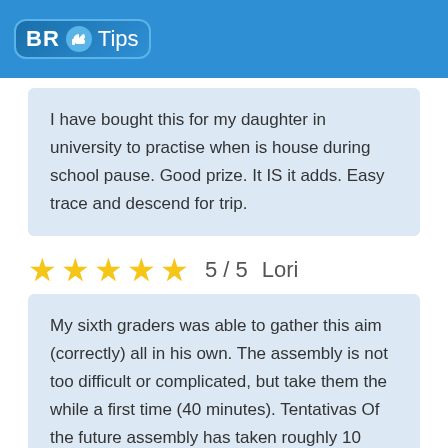BR Tips
I have bought this for my daughter in university to practise when is house during school pause. Good prize. It IS it adds. Easy trace and descend for trip.
5 / 5  Lori
My sixth graders was able to gather this aim (correctly) all in his own. The assembly is not too difficult or complicated, but take them the while a first time (40 minutes). Tentativas Of the future assembly has taken roughly 10 minutes less than